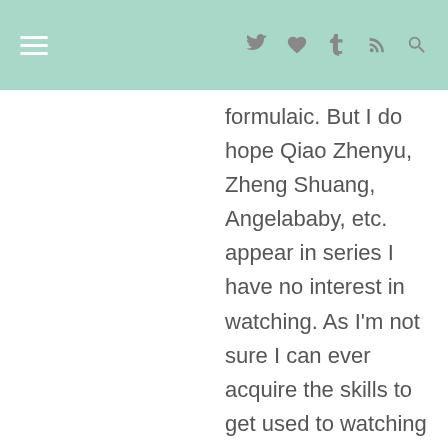Navigation header with hamburger menu and icons: twitter, heart, tumblr, rss, search
formulaic. But I do hope Qiao Zhenyu, Zheng Shuang, Angelababy, etc. appear in series I have no interest in watching. As I'm not sure I can ever acquire the skills to get used to watching these actors in a series. Perhaps this is related to why Nicholas Tse has been working on